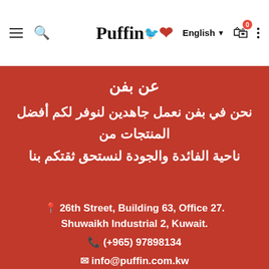Puffin — English — Cart (0)
عن بفن
نحن في بفن نعمل جاهدين لنوفر لكم أفضل المنتجات من ناحية الفائدة والجودة لنستحق ثقتكم بنا
📍 26th Street, Building 63, Office 27.
Shuwaikh Industrial 2, Kuwait.
📞 (+965) 97898134
✉ info@puffin.com.kw